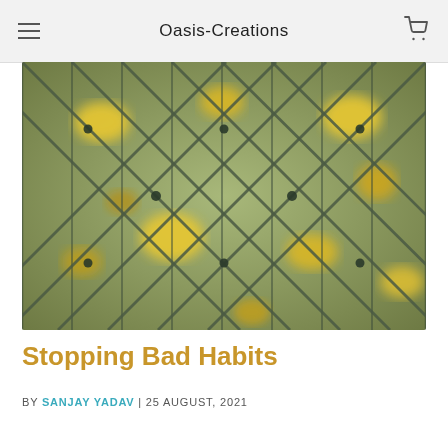Oasis-Creations
[Figure (photo): Close-up photo of a chain-link fence with blurred yellow flowers and green foliage in the background]
Stopping Bad Habits
BY SANJAY YADAV | 25 AUGUST, 2021